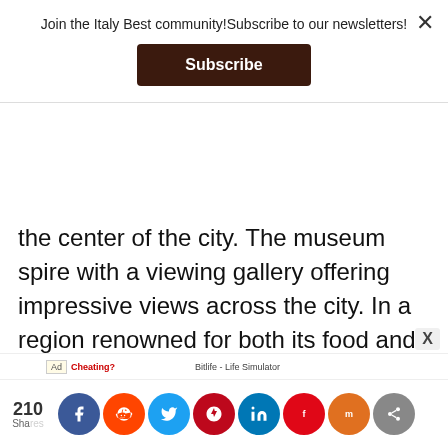Join the Italy Best community!Subscribe to our newsletters!
Subscribe
the center of the city. The museum has a spire with a viewing gallery offering impressive views across the city. In a region renowned for both its food and its wine, Torino is a foodie delight. Barolo, produced in the nearby Piedmont hills, is one of the best red wines produced in Italy. Truffles and hazelnuts feature on many of the menus – both produced
210 shares [social share bar]